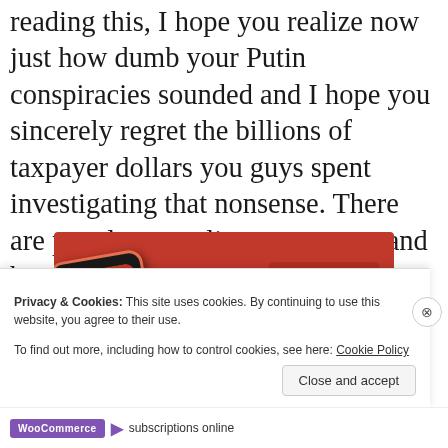reading this, I hope you realize now just how dumb your Putin conspiracies sounded and I hope you sincerely regret the billions of taxpayer dollars you guys spent investigating that nonsense. There are people struggling to pay rent and buy food, you know.
[Figure (screenshot): Advertisement showing a smartphone with a podcast app on a red background, with a 'Download now' button in the top right.]
Privacy & Cookies: This site uses cookies. By continuing to use this website, you agree to their use.
To find out more, including how to control cookies, see here: Cookie Policy
Close and accept
WooCommerce subscriptions online